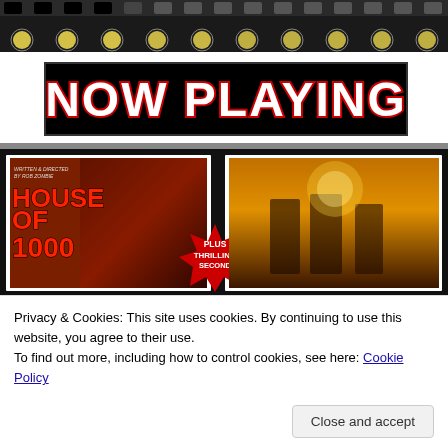[Figure (photo): Theater marquee with lights at the top of the page]
[Figure (photo): NOW PLAYING banner with large white text outlined in red on black background]
[Figure (photo): Movie poster collage showing House of 1000 Corpses (Rob Zombie) on the left and The Devil's Rejects on the right with a red burst badge reading PLUS THRILLING SECOND in the center]
Privacy & Cookies: This site uses cookies. By continuing to use this website, you agree to their use.
To find out more, including how to control cookies, see here: Cookie Policy
Close and accept